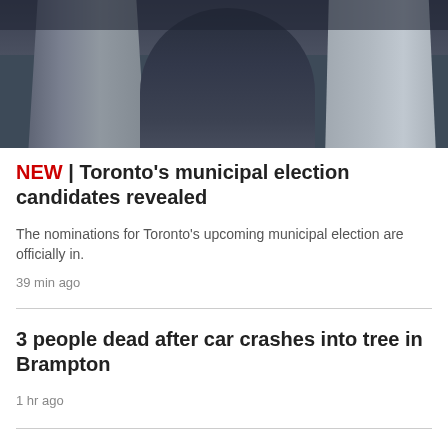[Figure (photo): Upward-angle photograph of Toronto City Hall's distinctive curved modernist towers against a cloudy grey sky]
NEW | Toronto's municipal election candidates revealed
The nominations for Toronto's upcoming municipal election are officially in.
39 min ago
3 people dead after car crashes into tree in Brampton
1 hr ago
The CNE is back. Here's everything you need to know